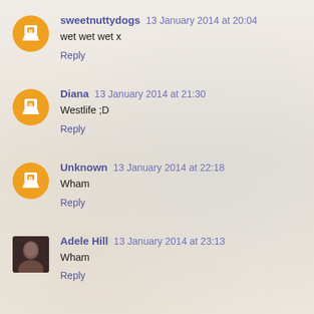sweetnuttydogs 13 January 2014 at 20:04
wet wet wet x
Reply
Diana 13 January 2014 at 21:30
Westlife ;D
Reply
Unknown 13 January 2014 at 22:18
Wham
Reply
Adele Hill 13 January 2014 at 23:13
Wham
Reply